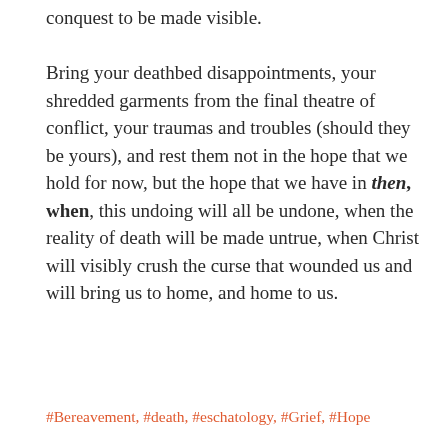conquest to be made visible.

Bring your deathbed disappointments, your shredded garments from the final theatre of conflict, your traumas and troubles (should they be yours), and rest them not in the hope that we hold for now, but the hope that we have in then, when, this undoing will all be undone, when the reality of death will be made untrue, when Christ will visibly crush the curse that wounded us and will bring us to home, and home to us.
#Bereavement, #death, #eschatology, #Grief, #Hope